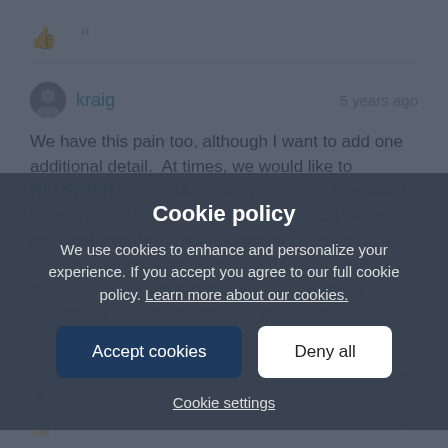[Figure (screenshot): Comment section showing thumbs-up and quote icons in a row, a horizontal divider, and a user comment by 'kraig' posted 5 years ago. The comment text reads: 'We have this pain too, although I want to add one additional detail. At times, we would like to REORDER the filters so that we can do advanced logic and /or display the filters in a logical order on our Dashboards. The only way to do this today is to delete all the filters and re-add them. Not a huge deal for 1 report, but in many cases we have 20 reports on a single dashboard that we need to adjust to get in that one additional conditional logic. thanks.' Below the comment is a '1 person' reaction bar.]
Cookie policy
We use cookies to enhance and personalize your experience. If you accept you agree to our full cookie policy. Learn more about our cookies.
Accept cookies
Deny all
Cookie settings